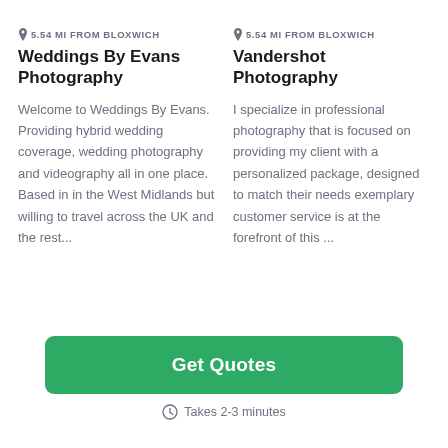5.54 MI FROM BLOXWICH
Weddings By Evans Photography
Welcome to Weddings By Evans. Providing hybrid wedding coverage, wedding photography and videography all in one place. Based in in the West Midlands but willing to travel across the UK and the rest...
5.54 MI FROM BLOXWICH
Vandershot Photography
I specialize in professional photography that is focused on providing my client with a personalized package, designed to match their needs exemplary customer service is at the forefront of this ...
Get Quotes
Takes 2-3 minutes